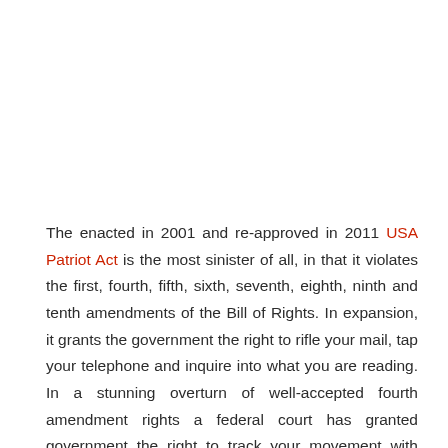The enacted in 2001 and re-approved in 2011 USA Patriot Act is the most sinister of all, in that it violates the first, fourth, fifth, sixth, seventh, eighth, ninth and tenth amendments of the Bill of Rights. In expansion, it grants the government the right to rifle your mail, tap your telephone and inquire into what you are reading. In a stunning overturn of well-accepted fourth amendment rights a federal court has granted government the right to track your movement with GPS technology, including via cell phones and GPS equipment.